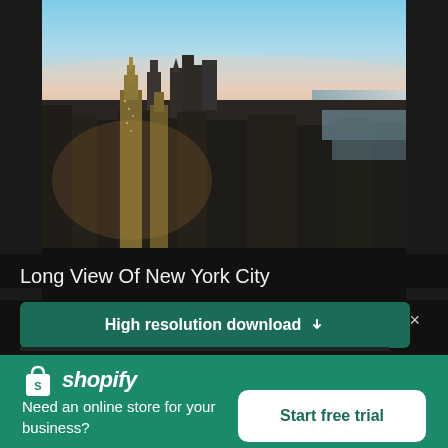[Figure (photo): Aerial panoramic view of New York City skyline at sunset/dusk, showing dense urban skyscrapers, the Hudson River in the background, and a warm golden-blue sky.]
Long View Of New York City
High resolution download ↓
[Figure (logo): Shopify logo: white shopping bag icon with 'S' and the word 'shopify' in white italic text on green background.]
Need an online store for your business?
Start free trial